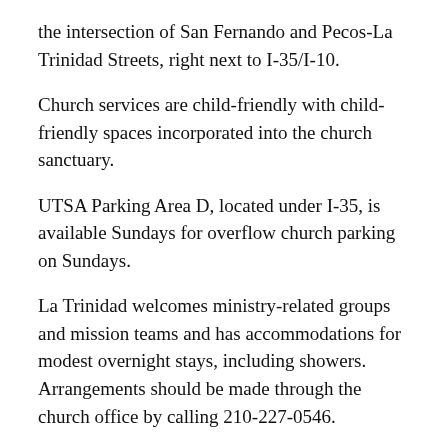the intersection of San Fernando and Pecos-La Trinidad Streets, right next to I-35/I-10.
Church services are child-friendly with child-friendly spaces incorporated into the church sanctuary.
UTSA Parking Area D, located under I-35, is available Sundays for overflow church parking on Sundays.
La Trinidad welcomes ministry-related groups and mission teams and has accommodations for modest overnight stays, including showers. Arrangements should be made through the church office by calling 210-227-0546.
The Historical Room of La Trinidad features one of the most elaborate collections of Hispanic